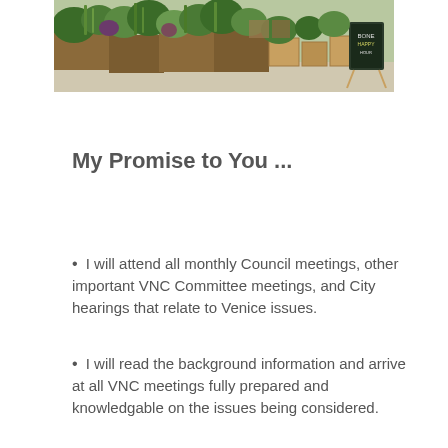[Figure (photo): Outdoor photo of a garden area with lush green plants in wooden raised planters along a walkway, with a chalkboard sign in the background on the right side]
My Promise to You ...
I will attend all monthly Council meetings, other important VNC Committee meetings, and City hearings that relate to Venice issues.
I will read the background information and arrive at all VNC meetings fully prepared and knowledgable on the issues being considered.